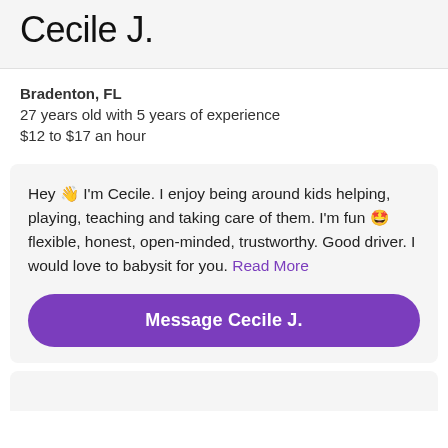Cecile J.
Bradenton, FL
27 years old with 5 years of experience
$12 to $17 an hour
Hey 👋 I'm Cecile. I enjoy being around kids helping, playing, teaching and taking care of them. I'm fun 🤩 flexible, honest, open-minded, trustworthy. Good driver. I would love to babysit for you. Read More
Message Cecile J.